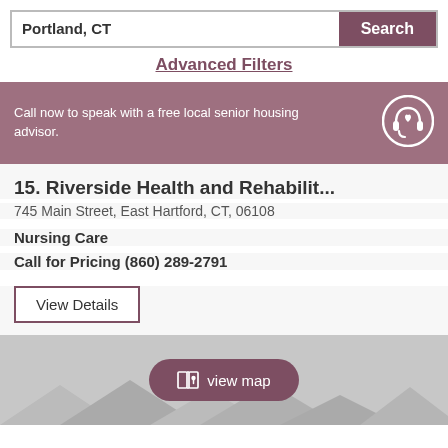Portland, CT
Search
Advanced Filters
Call now to speak with a free local senior housing advisor.
15. Riverside Health and Rehabilit...
745 Main Street, East Hartford, CT, 06108
Nursing Care
Call for Pricing (860) 289-2791
View Details
[Figure (map): Gray map area with 'view map' button and mountain silhouette graphic]